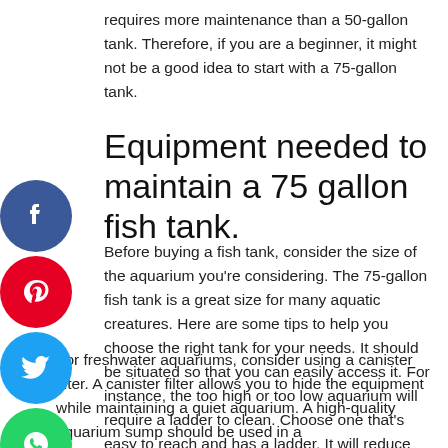requires more maintenance than a 50-gallon tank. Therefore, if you are a beginner, it might not be a good idea to start with a 75-gallon tank.
Equipment needed to maintain a 75 gallon fish tank.
Before buying a fish tank, consider the size of the aquarium you're considering. The 75-gallon fish tank is a great size for many aquatic creatures. Here are some tips to help you choose the right tank for your needs. It should be situated so that you can easily access it. For instance, the too high or too low aquarium will require a ladder to clean. Choose one that's easy to reach and has a ladder. It will reduce the time it takes to care for your fish.
For freshwater aquariums, consider using a canister filter. A canister filter allows you to hide the equipment while maintaining a quiet aquarium. A high-quality aquarium sump should be used in a